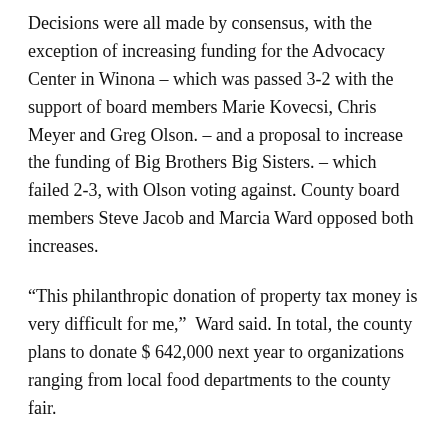Decisions were all made by consensus, with the exception of increasing funding for the Advocacy Center in Winona – which was passed 3-2 with the support of board members Marie Kovecsi, Chris Meyer and Greg Olson. – and a proposal to increase the funding of Big Brothers Big Sisters. – which failed 2-3, with Olson voting against. County board members Steve Jacob and Marcia Ward opposed both increases.
“This philanthropic donation of property tax money is very difficult for me,” Ward said. In total, the county plans to donate $ 642,000 next year to organizations ranging from local food departments to the county fair.
The county council was split at the defense center’s request for a $ 500 increase, from $ 15,300 to $ 15,760.
While acknowledging that the amount was small, Jacob said. “Every time it’s at the expense of the taxpayer, and someone has to stand up for the people who are going to pay for it.” He added